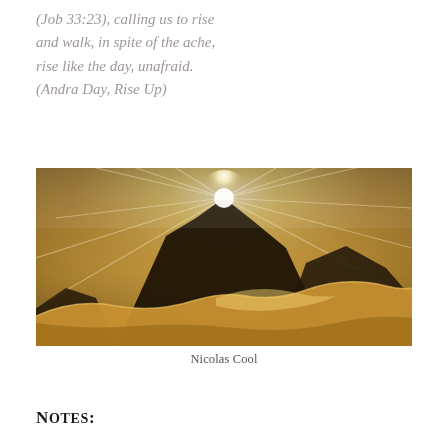(Job 33:23), calling us to rise and walk, in spite of the ache, rise like the day, unafraid. (Andra Day, Rise Up)
[Figure (photo): Sunlight bursting over a dark mountain peak above golden sand dunes, desert landscape, dramatic backlighting creating rays of light]
Nicolas Cool
Notes: